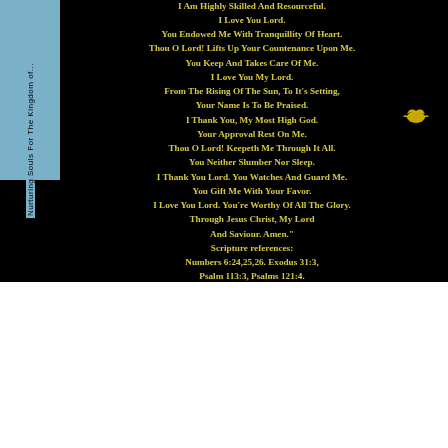[Figure (illustration): Black background image with yellow/gold bold text displaying a religious declaration prayer, with a small golden bird/eagle icon. A blue strip on the left side contains vertical text 'Nurturing Souls For The Kingdom of...'.]
" THIS I DECLARE;
El HaGadol.
Thou O Lord!